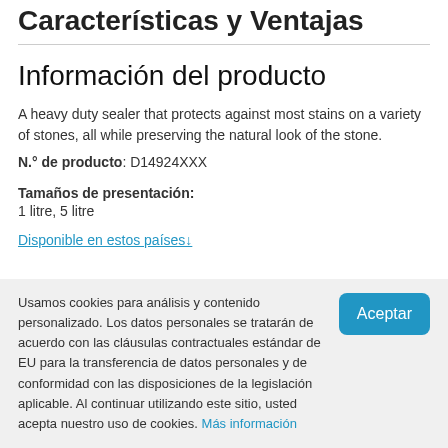Características y Ventajas
Información del producto
A heavy duty sealer that protects against most stains on a variety of stones, all while preserving the natural look of the stone.
N.° de producto: D14924XXX
Tamaños de presentación:
1 litre, 5 litre
Disponible en estos países↓
Usamos cookies para análisis y contenido personalizado. Los datos personales se tratarán de acuerdo con las cláusulas contractuales estándar de EU para la transferencia de datos personales y de conformidad con las disposiciones de la legislación aplicable. Al continuar utilizando este sitio, usted acepta nuestro uso de cookies. Más información